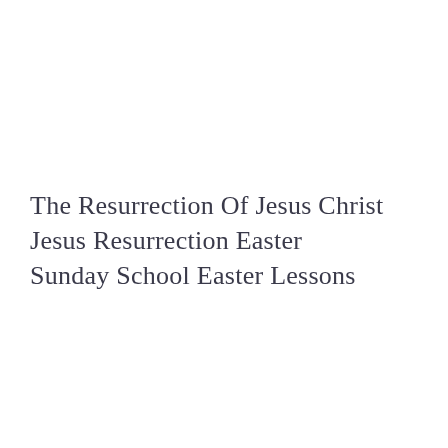The Resurrection Of Jesus Christ Jesus Resurrection Easter Sunday School Easter Lessons